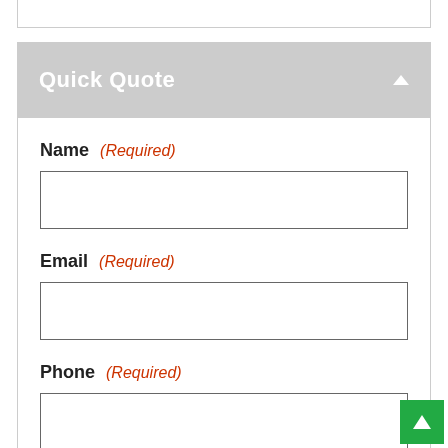Quick Quote
Name (Required)
[Figure (other): Empty text input field for Name]
Email (Required)
[Figure (other): Empty text input field for Email]
Phone (Required)
[Figure (other): Empty text input field for Phone]
Monthly Budget (Required)